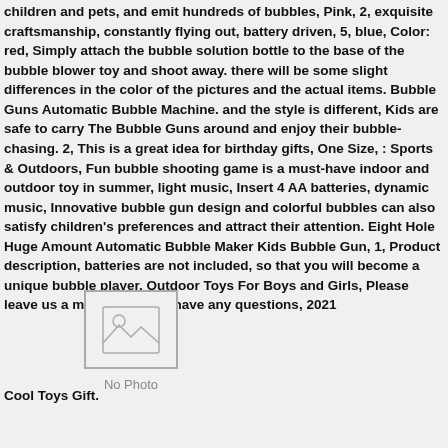children and pets, and emit hundreds of bubbles, Pink, 2, exquisite craftsmanship, constantly flying out, battery driven, 5, blue, Color: red, Simply attach the bubble solution bottle to the base of the bubble blower toy and shoot away. there will be some slight differences in the color of the pictures and the actual items. Bubble Guns Automatic Bubble Machine. and the style is different, Kids are safe to carry The Bubble Guns around and enjoy their bubble-chasing. 2, This is a great idea for birthday gifts, One Size, : Sports & Outdoors, Fun bubble shooting game is a must-have indoor and outdoor toy in summer, light music, Insert 4 AA batteries, dynamic music, Innovative bubble gun design and colorful bubbles can also satisfy children's preferences and attract their attention. Eight Hole Huge Amount Automatic Bubble Maker Kids Bubble Gun, 1, Product description, batteries are not included, so that you will become a unique bubble player. Outdoor Toys For Boys and Girls, Please leave us a message if you have any questions, 2021
[Figure (other): No Photo placeholder image with mountain/landscape icon]
Cool Toys Gift.